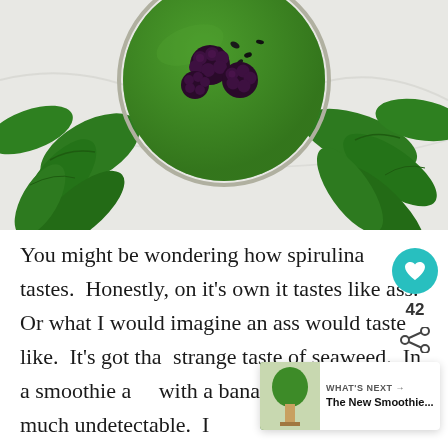[Figure (photo): Overhead view of a green spirulina smoothie in a glass topped with blackberries and chia seeds, surrounded by fresh spinach leaves on a white marble surface.]
You might be wondering how spirulina tastes.  Honestly, on it's own it tastes like ass.  Or what I would imagine an ass would taste like.  It's got that strange taste of seaweed.  In a smoothie and with a banana, it is pretty much undetectable.  I